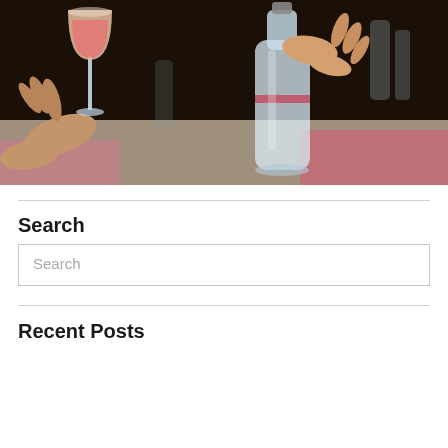[Figure (photo): Two people holding drinks and a glass bottle at a table, pouring beverages; dark background with pink/red accents.]
Search
Search
Recent Posts
September Beer Club: Iowa
September Cheese Club: Iowa